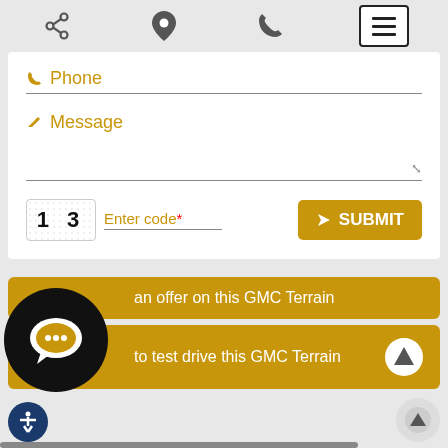[Figure (screenshot): Mobile website UI with navigation icons: share, location pin, phone, and hamburger menu button]
Phone
Message
1 3
Enter code*
SUBMIT
an offer on this GMC Terrain
to test drive this GMC Terrain